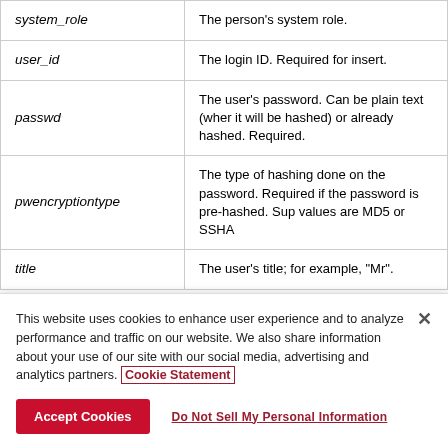| Field | Description |
| --- | --- |
| system_role | The person's system role. |
| user_id | The login ID. Required for insert. |
| passwd | The user's password. Can be plain text (where it will be hashed) or already hashed. Required. |
| pwencryptiontype | The type of hashing done on the password. Required if the password is pre-hashed. Supported values are MD5 or SSHA |
| title | The user's title; for example, "Mr". |
This website uses cookies to enhance user experience and to analyze performance and traffic on our website. We also share information about your use of our site with our social media, advertising and analytics partners. Cookie Statement